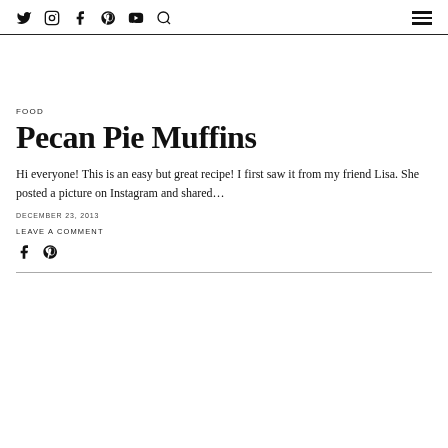Twitter Instagram Facebook Pinterest YouTube Search [hamburger menu]
FOOD
Pecan Pie Muffins
Hi everyone! This is an easy but great recipe! I first saw it from my friend Lisa. She posted a picture on Instagram and shared…
DECEMBER 23, 2013
LEAVE A COMMENT
[Figure (other): Facebook and Pinterest share icon buttons]